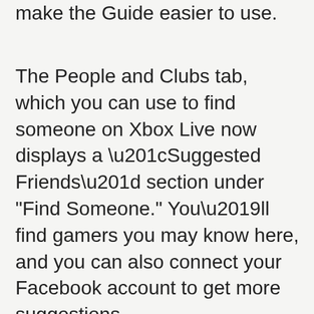the Xbox team is working on other improvements to make the Guide easier to use.
The People and Clubs tab, which you can use to find someone on Xbox Live now displays a “Suggested Friends” section under "Find Someone." You’ll find gamers you may know here, and you can also connect your Facebook account to get more suggestions